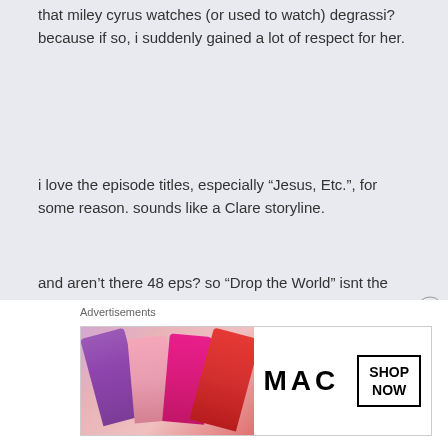that miley cyrus watches (or used to watch) degrassi? because if so, i suddenly gained a lot of respect for her.
i love the episode titles, especially “Jesus, Etc.”, for some reason. sounds like a Clare storyline.
and aren’t there 48 eps? so “Drop the World” isnt the season finale. thats a shame, i think. sounds like a parallel (the title is, at least) to “All Falls Down”
and it feels weird having ‘Umbrella’ and ‘Halo’ as episode titles . . . this is the first time there’s been a title that’s a song that i actually listened to when it was new.
[Figure (advertisement): MAC Cosmetics advertisement showing lipsticks in various colors (purple, light pink, hot pink, red) alongside MAC logo and a SHOP NOW button.]
Advertisements